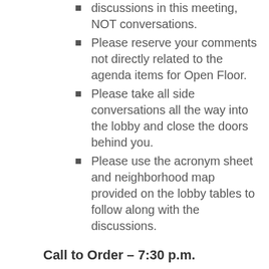discussions in this meeting, NOT conversations.
Please reserve your comments not directly related to the agenda items for Open Floor.
Please take all side conversations all the way into the lobby and close the doors behind you.
Please use the acronym sheet and neighborhood map provided on the lobby tables to follow along with the discussions.
Call to Order – 7:30 p.m.
Officer Reports
President
Welcome and thanks again to Zoo Atlanta
Please read/review the Housekeeping and Meeting